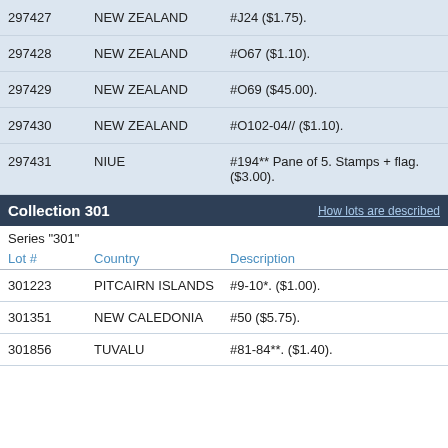| Lot # | Country | Description |
| --- | --- | --- |
| 297427 | NEW ZEALAND | #J24 ($1.75). |
| 297428 | NEW ZEALAND | #O67 ($1.10). |
| 297429 | NEW ZEALAND | #O69 ($45.00). |
| 297430 | NEW ZEALAND | #O102-04// ($1.10). |
| 297431 | NIUE | #194** Pane of 5. Stamps + flag. ($3.00). |
Collection 301
Series "301"
| Lot # | Country | Description |
| --- | --- | --- |
| 301223 | PITCAIRN ISLANDS | #9-10*. ($1.00). |
| 301351 | NEW CALEDONIA | #50 ($5.75). |
| 301856 | TUVALU | #81-84**. ($1.40). |